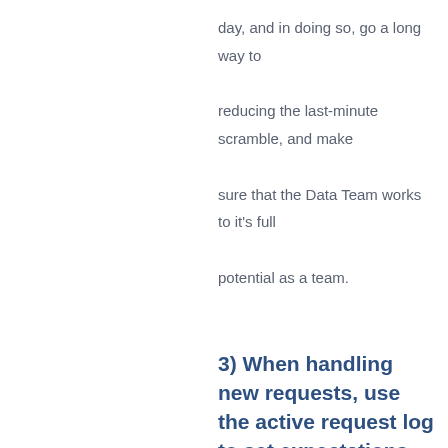day, and in doing so, go a long way to reducing the last-minute scramble, and make sure that the Data Team works to it's full potential as a team.
3) When handling new requests, use the active request log to set expectations
If you have the discipline to do the above 2 steps, then after not too long you will have great information for managing expectations with new requests. For example, if there is a last minute urgent and important request for information, then at minimum you will now